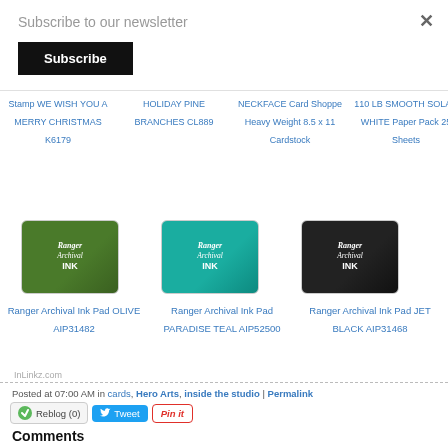Subscribe to our newsletter
Subscribe
Stamp WE WISH YOU A MERRY CHRISTMAS K6179
HOLIDAY PINE BRANCHES CL889
NECKFACE Card Shoppe Heavy Weight 8.5 x 11 Cardstock
110 LB SMOOTH SOLAR WHITE Paper Pack 25 Sheets
Pad VIBRANT FUCHSIA AIP52524
[Figure (photo): Ranger Archival Ink Pad OLIVE AIP31482 - green ink pad]
Ranger Archival Ink Pad OLIVE AIP31482
[Figure (photo): Ranger Archival Ink Pad PARADISE TEAL AIP52500 - teal ink pad]
Ranger Archival Ink Pad PARADISE TEAL AIP52500
[Figure (photo): Ranger Archival Ink Pad JET BLACK AIP31468 - black ink pad]
Ranger Archival Ink Pad JET BLACK AIP31468
InLinkz.com
Posted at 07:00 AM in cards, Hero Arts, inside the studio | Permalink
Reblog (0)
Tweet
Pin it
Comments